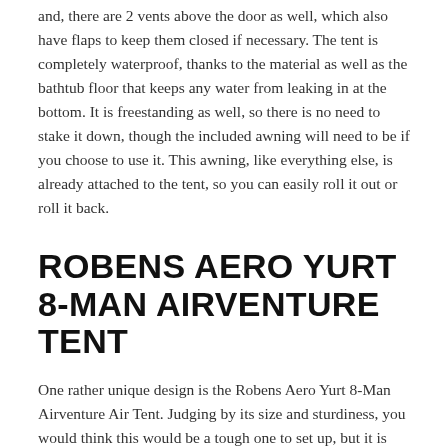and, there are 2 vents above the door as well, which also have flaps to keep them closed if necessary. The tent is completely waterproof, thanks to the material as well as the bathtub floor that keeps any water from leaking in at the bottom. It is freestanding as well, so there is no need to stake it down, though the included awning will need to be if you choose to use it. This awning, like everything else, is already attached to the tent, so you can easily roll it out or roll it back.
ROBENS AERO YURT 8-MAN AIRVENTURE TENT
One rather unique design is the Robens Aero Yurt 8-Man Airventure Air Tent. Judging by its size and sturdiness, you would think this would be a tough one to set up, but it is quite simple, thanks to the use of air beams rather than poles to form the tent frame. The tent can quickly and easily be inflated by one person, thanks to all 8 air beams being connected to one valve, and it is freestanding, so no need to worry about stakes or guy lines. It is made of a ripstop polycotton blend